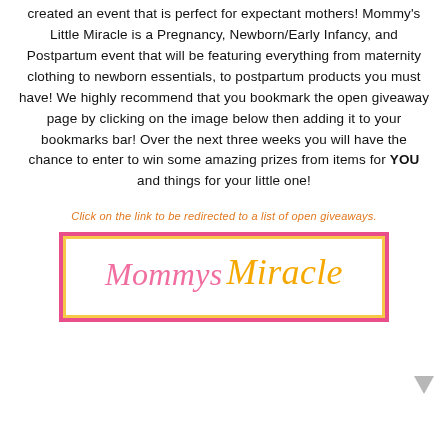created an event that is perfect for expectant mothers! Mommy's Little Miracle is a Pregnancy, Newborn/Early Infancy, and Postpartum event that will be featuring everything from maternity clothing to newborn essentials, to postpartum products you must have! We highly recommend that you bookmark the open giveaway page by clicking on the image below then adding it to your bookmarks bar! Over the next three weeks you will have the chance to enter to win some amazing prizes from items for YOU and things for your little one!
Click on the link to be redirected to a list of open giveaways.
[Figure (other): Promotional image box with pink outer border and yellow inner border showing 'Mommys Miracle' in decorative pink and gold italic script fonts.]